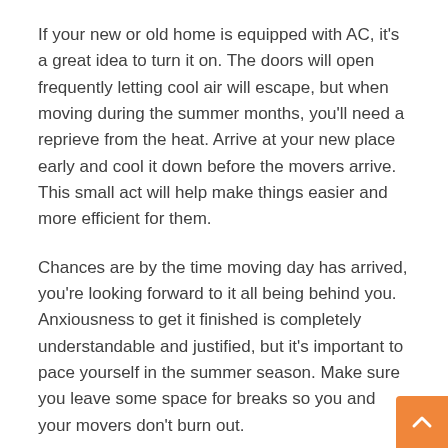If your new or old home is equipped with AC, it's a great idea to turn it on. The doors will open frequently letting cool air will escape, but when moving during the summer months, you'll need a reprieve from the heat. Arrive at your new place early and cool it down before the movers arrive. This small act will help make things easier and more efficient for them.
Chances are by the time moving day has arrived, you're looking forward to it all being behind you. Anxiousness to get it finished is completely understandable and justified, but it's important to pace yourself in the summer season. Make sure you leave some space for breaks so you and your movers don't burn out.
Make a plan for kids and pets
There are a couple of options for kids while moving. One is to arrange for someone to look after them for the day. The other is to get them involved in the move. Moving